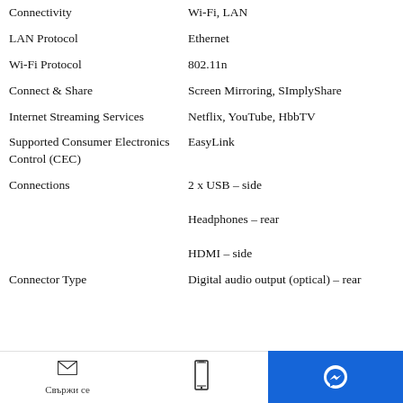| Property | Value |
| --- | --- |
| Connectivity | Wi-Fi, LAN |
| LAN Protocol | Ethernet |
| Wi-Fi Protocol | 802.11n |
| Connect & Share | Screen Mirroring, SImplyShare |
| Internet Streaming Services | Netflix, YouTube, HbbTV |
| Supported Consumer Electronics Control (CEC) | EasyLink |
| Connections | 2 x USB – side
Headphones – rear
HDMI – side |
| Connector Type | Digital audio output (optical) – rear |
Свържи се